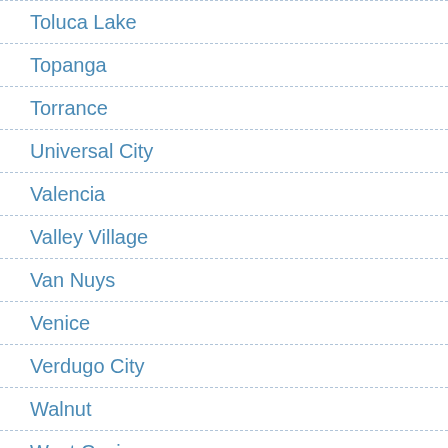Toluca Lake
Topanga
Torrance
Universal City
Valencia
Valley Village
Van Nuys
Venice
Verdugo City
Walnut
West Covina
West Hollywood